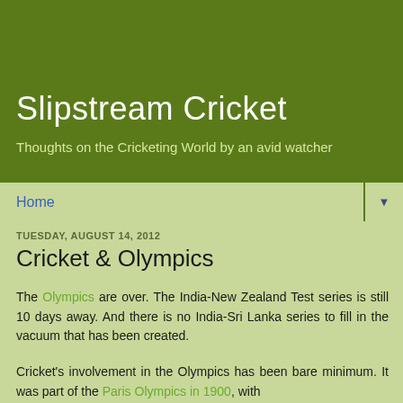Slipstream Cricket
Thoughts on the Cricketing World by an avid watcher
Home
TUESDAY, AUGUST 14, 2012
Cricket & Olympics
The Olympics are over. The India-New Zealand Test series is still 10 days away. And there is no India-Sri Lanka series to fill in the vacuum that has been created.
Cricket's involvement in the Olympics has been bare minimum. It was part of the Paris Olympics in 1900, with